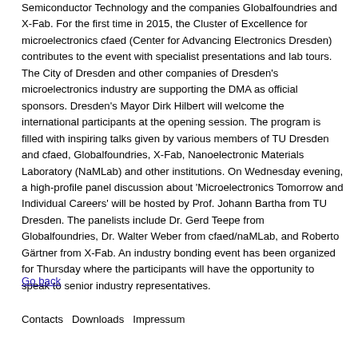Semiconductor Technology and the companies Globalfoundries and X-Fab. For the first time in 2015, the Cluster of Excellence for microelectronics cfaed (Center for Advancing Electronics Dresden) contributes to the event with specialist presentations and lab tours. The City of Dresden and other companies of Dresden's microelectronics industry are supporting the DMA as official sponsors. Dresden's Mayor Dirk Hilbert will welcome the international participants at the opening session. The program is filled with inspiring talks given by various members of TU Dresden and cfaed, Globalfoundries, X-Fab, Nanoelectronic Materials Laboratory (NaMLab) and other institutions. On Wednesday evening, a high-profile panel discussion about 'Microelectronics Tomorrow and Individual Careers' will be hosted by Prof. Johann Bartha from TU Dresden. The panelists include Dr. Gerd Teepe from Globalfoundries, Dr. Walter Weber from cfaed/naMLab, and Roberto Gärtner from X-Fab. An industry bonding event has been organized for Thursday where the participants will have the opportunity to speak to senior industry representatives.
Go back
Contacts Downloads Impressum